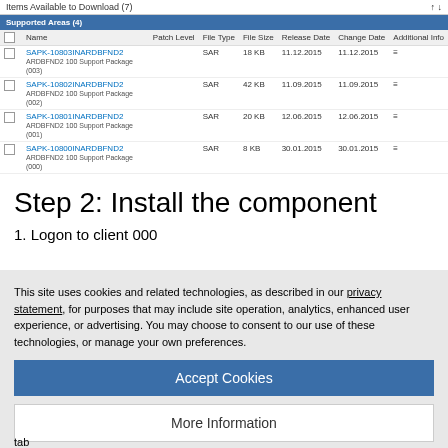[Figure (screenshot): SAP download table showing items available to download with columns: Name, Patch Level, File Type, File Size, Release Date, Change Date, Additional Info. Four rows with SAPK-10803INARDBFND2 entries (SAR files with dates in 2015/2016).]
Step 2: Install the component
1. Logon to client 000
This site uses cookies and related technologies, as described in our privacy statement, for purposes that may include site operation, analytics, enhanced user experience, or advertising. You may choose to consent to our use of these technologies, or manage your own preferences.
Accept Cookies
More Information
Privacy Policy | Powered by: TrustArc
tab